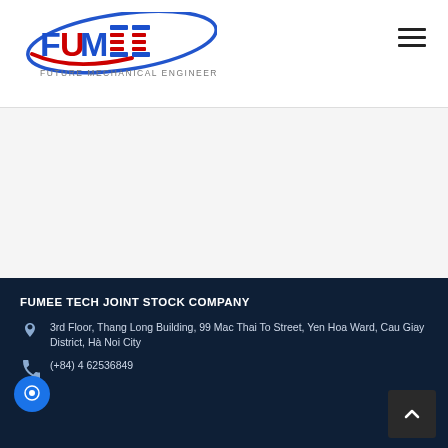[Figure (logo): FUMEE - Future Mechanical Engineering logo with blue and red stylized text and ellipse swoosh]
FUMEE TECH JOINT STOCK COMPANY
3rd Floor, Thang Long Building, 99 Mac Thai To Street, Yen Hoa Ward, Cau Giay District, Hà Noi City
(+84) 4 62536849